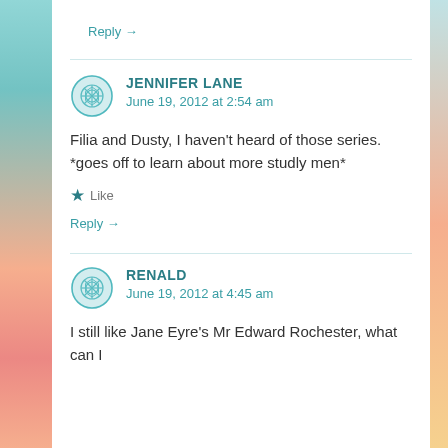Reply →
JENNIFER LANE
June 19, 2012 at 2:54 am
Filia and Dusty, I haven't heard of those series. *goes off to learn about more studly men*
Like
Reply →
RENALD
June 19, 2012 at 4:45 am
I still like Jane Eyre's Mr Edward Rochester, what can I